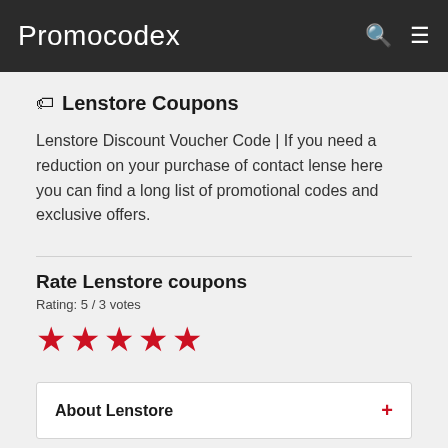Promocodex
Lenstore Coupons
Lenstore Discount Voucher Code | If you need a reduction on your purchase of contact lense here you can find a long list of promotional codes and exclusive offers.
Rate Lenstore coupons
Rating: 5 / 3 votes
[Figure (other): Five red star rating icons]
About Lenstore